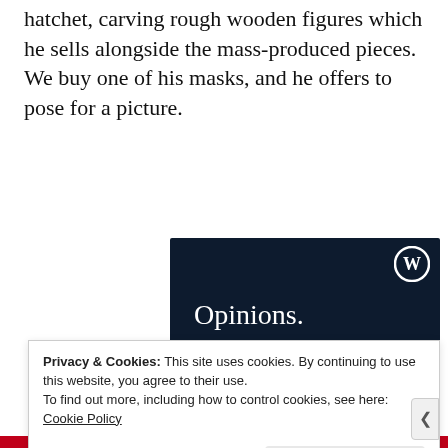hatchet, carving rough wooden figures which he sells alongside the mass-produced pieces. We buy one of his masks, and he offers to pose for a picture.
[Figure (screenshot): Dark navy advertisement banner reading 'Opinions. We all have them!' with a WordPress logo in the top right corner, a pink/red button bar at the bottom, and a white circle decorative element.]
Privacy & Cookies: This site uses cookies. By continuing to use this website, you agree to their use.
To find out more, including how to control cookies, see here:
Cookie Policy